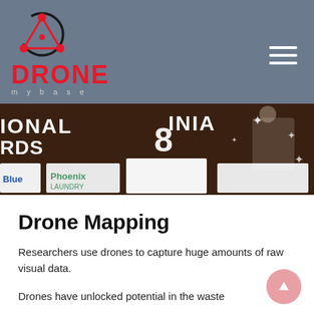[Figure (logo): DroneMyBase logo: red drone/network icon above bold red text DRONE with grey tracking letters 'mybase' below]
[Figure (photo): An awards ceremony photo showing a banner with partially visible text 'IONAL', 'RDS', '8', 'INIA', sponsor logos including Phoenix Laundry and Blue, a person holding a trophy with sparkle/star decorations]
Drone Mapping
Researchers use drones to capture huge amounts of raw visual data.
Drones have unlocked potential in the waste